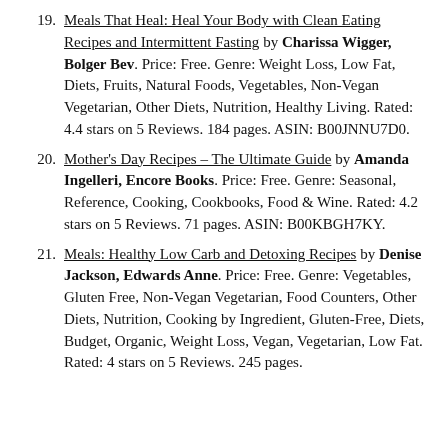19. Meals That Heal: Heal Your Body with Clean Eating Recipes and Intermittent Fasting by Charissa Wigger, Bolger Bev. Price: Free. Genre: Weight Loss, Low Fat, Diets, Fruits, Natural Foods, Vegetables, Non-Vegan Vegetarian, Other Diets, Nutrition, Healthy Living. Rated: 4.4 stars on 5 Reviews. 184 pages. ASIN: B00JNNU7D0.
20. Mother's Day Recipes – The Ultimate Guide by Amanda Ingelleri, Encore Books. Price: Free. Genre: Seasonal, Reference, Cooking, Cookbooks, Food & Wine. Rated: 4.2 stars on 5 Reviews. 71 pages. ASIN: B00KBGH7KY.
21. Meals: Healthy Low Carb and Detoxing Recipes by Denise Jackson, Edwards Anne. Price: Free. Genre: Vegetables, Gluten Free, Non-Vegan Vegetarian, Food Counters, Other Diets, Nutrition, Cooking by Ingredient, Gluten-Free, Diets, Budget, Organic, Weight Loss, Vegan, Vegetarian, Low Fat. Rated: 4 stars on 5 Reviews. 245 pages.